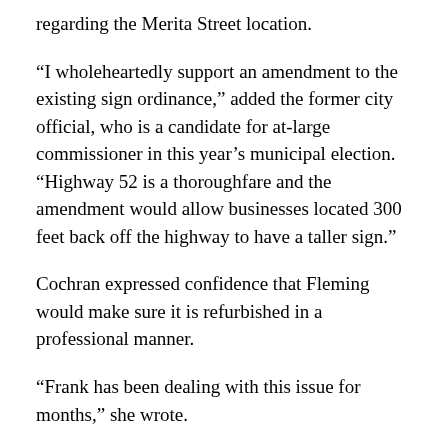regarding the Merita Street location.
“I wholeheartedly support an amendment to the existing sign ordinance,” added the former city official, who is a candidate for at-large commissioner in this year’s municipal election. “Highway 52 is a thoroughfare and the amendment would allow businesses located 300 feet back off the highway to have a taller sign.”
Cochran expressed confidence that Fleming would make sure it is refurbished in a professional manner.
“Frank has been dealing with this issue for months,” she wrote.
“He moves at lightning speed on the race track — I hope each commissioner will move fast on June 16th and approve this amendment, so Frank can continue taking